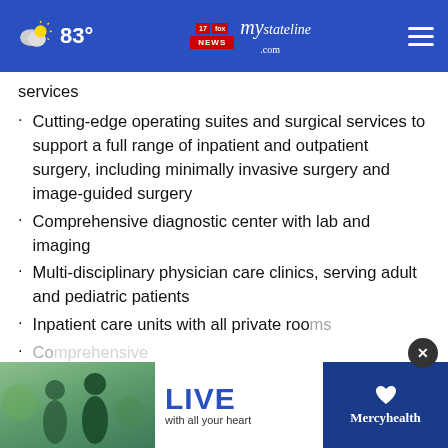83° | mystateline.com NEWS
services
Cutting-edge operating suites and surgical services to support a full range of inpatient and outpatient surgery, including minimally invasive surgery and image-guided surgery
Comprehensive diagnostic center with lab and imaging
Multi-disciplinary physician care clinics, serving adult and pediatric patients
Inpatient care units with all private rooms
Co... neuro...
[Figure (advertisement): Mercyhealth advertisement banner: LIVE with all your heart]